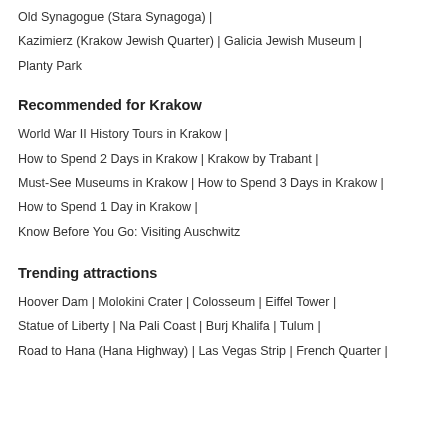Old Synagogue (Stara Synagoga) |
Kazimierz (Krakow Jewish Quarter) | Galicia Jewish Museum |
Planty Park
Recommended for Krakow
World War II History Tours in Krakow |
How to Spend 2 Days in Krakow | Krakow by Trabant |
Must-See Museums in Krakow | How to Spend 3 Days in Krakow |
How to Spend 1 Day in Krakow |
Know Before You Go: Visiting Auschwitz
Trending attractions
Hoover Dam | Molokini Crater | Colosseum | Eiffel Tower |
Statue of Liberty | Na Pali Coast | Burj Khalifa | Tulum |
Road to Hana (Hana Highway) | Las Vegas Strip | French Quarter |